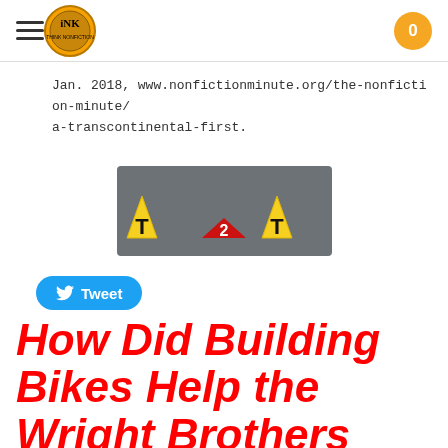INK logo, navigation menu, cart (0)
Jan. 2018, www.nonfictionminute.org/the-nonfiction-minute/a-transcontinental-first.
[Figure (logo): T2T logo: two yellow triangles with 'T' letters and a red triangle with '2' between them on a grey background]
[Figure (other): Tweet button with Twitter bird icon]
How Did Building Bikes Help the Wright Brothers Invent the